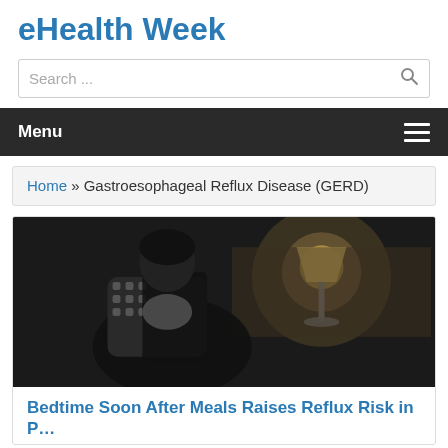eHealth Week
Search ...
Menu
Home » Gastroesophageal Reflux Disease (GERD)
[Figure (photo): Black and white photo of a woman in a patterned top holding her chest, with a lamp glowing in the background, depicting someone experiencing reflux or chest discomfort.]
Bedtime Soon After Meals Raises Reflux Risk in P...